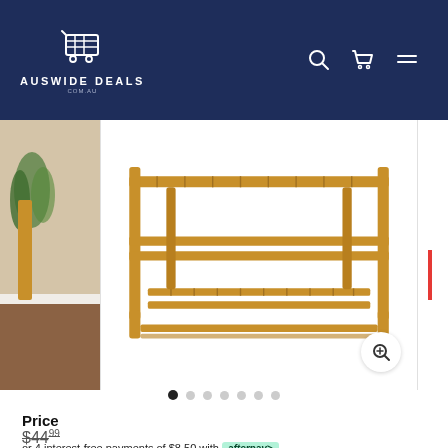[Figure (logo): Auswide Deals logo with shopping cart icon on dark navy background, with search, cart, and menu icons on the right]
[Figure (photo): Bamboo 2-tier shoe rack / shelf product image on white background, with partial lifestyle photos on left and right edges. A magnify/zoom button is in the bottom right.]
[Figure (other): Image carousel navigation dots — 7 dots, first one filled/active, rest grey]
Price
$44.99 (strikethrough/original price)
or 4 interest-free payments of $8.50 with Afterpay